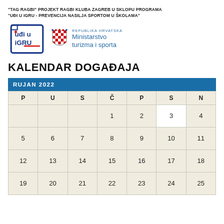"TAG RAGBI" PROJEKT RAGBI KLUBA ZAGREB U SKLOPU PROGRAMA "UĐI U IGRU - PREVENCIJA NASILJA SPORTOM U ŠKOLAMA"
[Figure (logo): Logo 'Uđi u igru' - stylized text in blue and red with border, and Croatian coat of arms with text 'Republika Hrvatska Ministarstvo turizma i sporta']
KALENDAR DOGAĐAJA
| P | U | S | Č | P | S | N |
| --- | --- | --- | --- | --- | --- | --- |
|  |  |  | 1 | 2 | 3 | 4 |
| 5 | 6 | 7 | 8 | 9 | 10 | 11 |
| 12 | 13 | 14 | 15 | 16 | 17 | 18 |
| 19 | 20 | 21 | 22 | 23 | 24 | 25 |